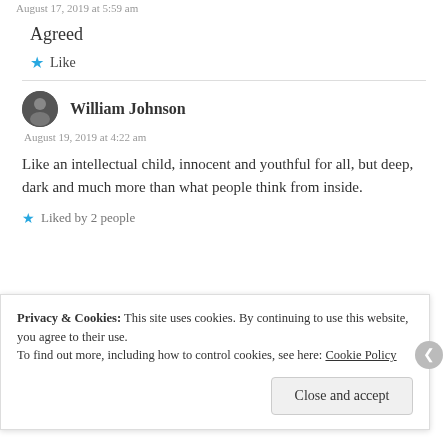August 17, 2019 at 5:59 am
Agreed
Like
William Johnson
August 19, 2019 at 4:22 am
Like an intellectual child, innocent and youthful for all, but deep, dark and much more than what people think from inside.
Liked by 2 people
Privacy & Cookies: This site uses cookies. By continuing to use this website, you agree to their use.
To find out more, including how to control cookies, see here: Cookie Policy
Close and accept